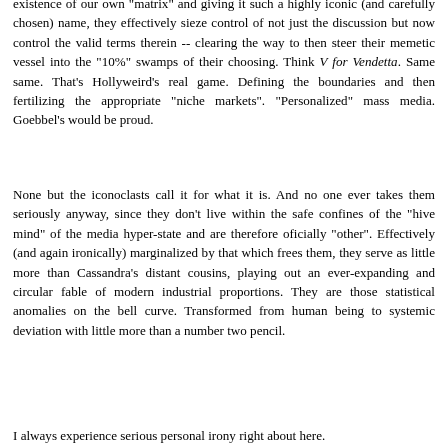existence of our own "matrix" and giving it such a highly iconic (and carefully chosen) name, they effectively sieze control of not just the discussion but now control the valid terms therein -- clearing the way to then steer their memetic vessel into the "10%" swamps of their choosing. Think V for Vendetta. Same same. That's Hollyweird's real game. Defining the boundaries and then fertilizing the appropriate "niche markets". "Personalized" mass media. Goebbel's would be proud.
None but the iconoclasts call it for what it is. And no one ever takes them seriously anyway, since they don't live within the safe confines of the "hive mind" of the media hyper-state and are therefore oficially "other". Effectively (and again ironically) marginalized by that which frees them, they serve as little more than Cassandra's distant cousins, playing out an ever-expanding and circular fable of modern industrial proportions. They are those statistical anomalies on the bell curve. Transformed from human being to systemic deviation with little more than a number two pencil.
I always experience serious personal irony right about here.